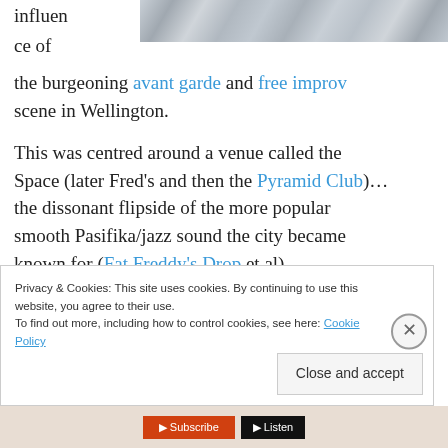[Figure (photo): Partial photo of drums/music equipment, visible at top right of page]
influen

ce of

the burgeoning avant garde and free improv
scene in Wellington.

This was centred around a venue called the Space (later Fred's and then the Pyramid Club)… the dissonant flipside of the more popular smooth Pasifika/jazz sound the city became known for (Fat Freddy's Drop et al).
Privacy & Cookies: This site uses cookies. By continuing to use this website, you agree to their use.
To find out more, including how to control cookies, see here: Cookie Policy
Close and accept